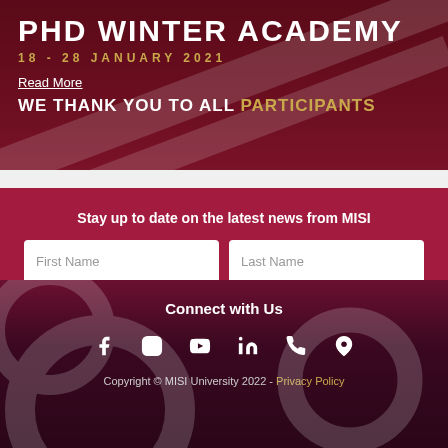[Figure (screenshot): PHD Winter Academy banner with dark red background showing title 'PHD WINTER ACADEMY', date '18 - 28 JANUARY 2021', 'Read More' link, and text 'WE THANK YOU TO ALL PARTICIPANTS']
Stay up to date on the latest news from MISI
First Name
Last Name
Email
Submit
Connect with Us
Copyright © MISI University 2022 - Privacy Policy